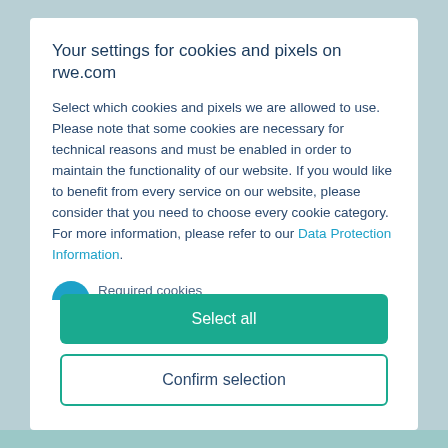Your settings for cookies and pixels on rwe.com
Select which cookies and pixels we are allowed to use. Please note that some cookies are necessary for technical reasons and must be enabled in order to maintain the functionality of our website. If you would like to benefit from every service on our website, please consider that you need to choose every cookie category. For more information, please refer to our Data Protection Information.
Select all
Confirm selection